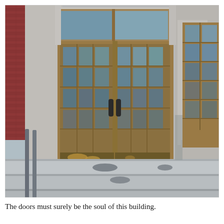[Figure (photo): Photograph of the entrance of an old building featuring a pair of weathered wooden double doors with glass panes arranged in a grid pattern. The doors have dark metal handles and show signs of age and wear, including peeling paint at the bottom. The entrance is framed by stone/concrete pillars and surround. Steps lead up to the doors. To the right, a partial view of another window similar in style. Red brick wall visible on the far left. The sky is visible in the upper right corner.]
The doors must surely be the soul of this building.